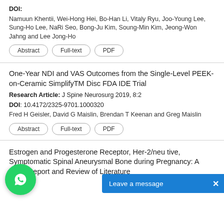DOI:
Namuun Khentii, Wei-Hong Hei, Bo-Han Li, Vitaly Ryu, Joo-Young Lee, Sung-Ho Lee, NaRi Seo, Bong-Ju Kim, Soung-Min Kim, Jeong-Won Jahng and Lee Jong-Ho
Abstract | Full-text | PDF
One-Year NDI and VAS Outcomes from the Single-Level PEEK-on-Ceramic SimplifyTM Disc FDA IDE Trial
Research Article: J Spine Neurosurg 2019, 8:2
DOI: 10.4172/2325-9701.1000320
Fred H Geisler, David G Maislin, Brendan T Keenan and Greg Maislin
Abstract | Full-text | PDF
Estrogen and Progesterone Receptor, Her-2/neu tive, Symptomatic Spinal Aneurysmal Bone during Pregnancy: A Case Report and Review of Literature
[Figure (other): WhatsApp chat bubble icon (green circle with white phone icon)]
Leave a message  ×